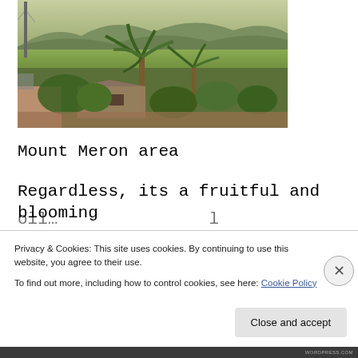[Figure (photo): Aerial/elevated view of Mount Meron area showing palm trees, green fields, mountains in background, and buildings/rooftops in foreground.]
Mount Meron area
Regardless, its a fruitful and blooming
Privacy & Cookies: This site uses cookies. By continuing to use this website, you agree to their use.
To find out more, including how to control cookies, see here: Cookie Policy
Close and accept